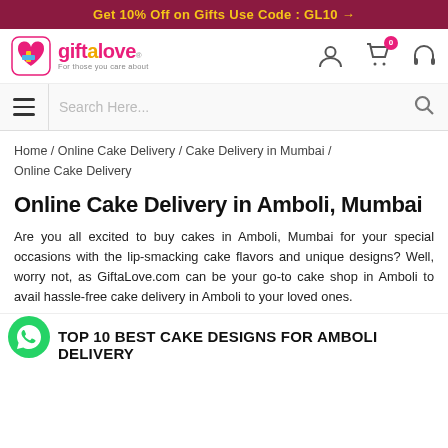Get 10% Off on Gifts Use Code : GL10 →
[Figure (logo): Giftalove logo with heart icon and tagline 'For those you care about']
Search Here...
Home / Online Cake Delivery / Cake Delivery in Mumbai / Online Cake Delivery
Online Cake Delivery in Amboli, Mumbai
Are you all excited to buy cakes in Amboli, Mumbai for your special occasions with the lip-smacking cake flavors and unique designs? Well, worry not, as GiftaLove.com can be your go-to cake shop in Amboli to avail hassle-free cake delivery in Amboli to your loved ones.
TOP 10 BEST CAKE DESIGNS FOR AMBOLI DELIVERY